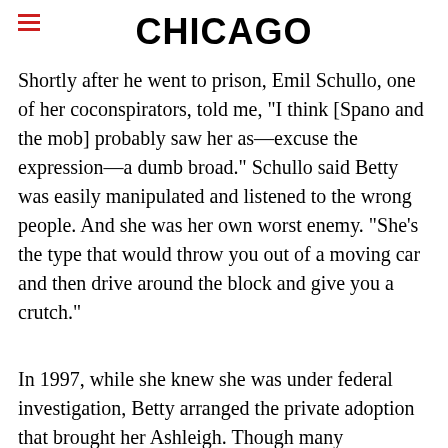CHICAGO
Shortly after he went to prison, Emil Schullo, one of her coconspirators, told me, "I think [Spano and the mob] probably saw her as—excuse the expression—a dumb broad." Schullo said Betty was easily manipulated and listened to the wrong people. And she was her own worst enemy. "She's the type that would throw you out of a moving car and then drive around the block and give you a crutch."
In 1997, while she knew she was under federal investigation, Betty arranged the private adoption that brought her Ashleigh. Though many commentators, and even the trial judge, John